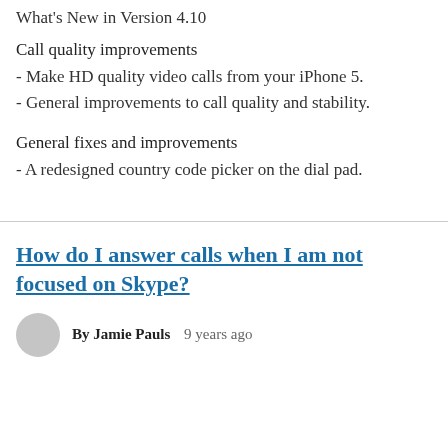What's New in Version 4.10
Call quality improvements
- Make HD quality video calls from your iPhone 5.
- General improvements to call quality and stability.
General fixes and improvements
- A redesigned country code picker on the dial pad.
How do I answer calls when I am not focused on Skype?
By Jamie Pauls   9 years ago